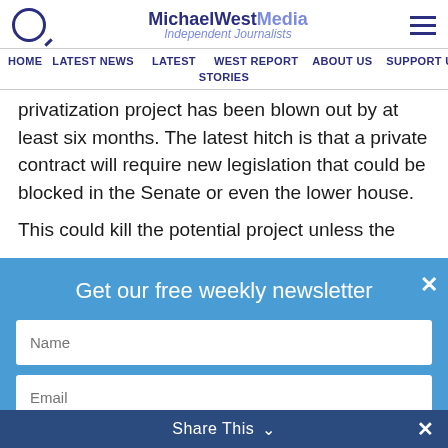MichaelWest Media Independent Journalists
HOME  LATEST NEWS  LATEST  WEST REPORT  ABOUT US  SUPPORT US  STORIES
privatization project has been blown out by at least six months. The latest hitch is that a private contract will require new legislation that could be blocked in the Senate or even the lower house.
This could kill the potential project unless the
[Figure (screenshot): Newsletter signup modal overlay with blue background. Contains heading 'Get our free weekly newsletter', a Name input field, an Email input field, and an orange 'GET NEWSLETTER' button. A white X close button is in the top right.]
Share This  ×